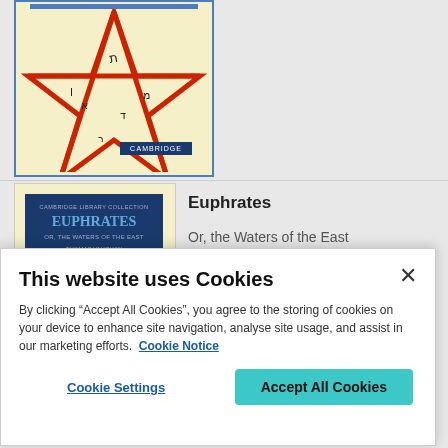[Figure (illustration): Book cover with a red pentagram/star on a yellow background with Hebrew characters, and a Cambridge University Press label at the bottom]
Euphrates
Or, the Waters of the East
[Figure (illustration): Book cover for 'Euphrates Or, the Waters of the East' Cambridge Library Collection, blue cover with white text, by Thomas Vaughan, Edited by Florence Farr]
This website uses Cookies
By clicking “Accept All Cookies”, you agree to the storing of cookies on your device to enhance site navigation, analyse site usage, and assist in our marketing efforts.  Cookie Notice
Cookie Settings
Accept All Cookies